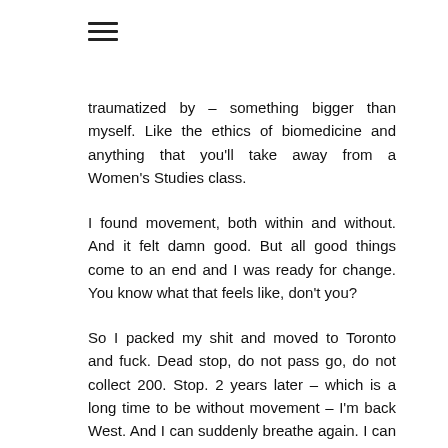[Figure (other): Hamburger menu icon (three horizontal lines)]
traumatized by – something bigger than myself. Like the ethics of biomedicine and anything that you'll take away from a Women's Studies class.
I found movement, both within and without. And it felt damn good. But all good things come to an end and I was ready for change. You know what that feels like, don't you?
So I packed my shit and moved to Toronto and fuck. Dead stop, do not pass go, do not collect 200. Stop. 2 years later – which is a long time to be without movement – I'm back West. And I can suddenly breathe again. I can feel the ocean breeze in my hair, and smell the green (do you know what I mean